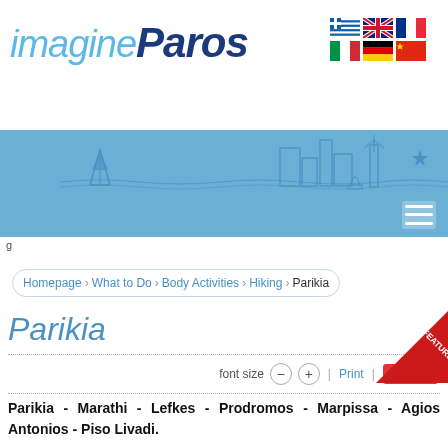[Figure (logo): imagineParos website logo with blue italic text]
[Figure (illustration): Paros skyline illustration with sailboats, windmill, and a star in light blue line art]
g
Homepage › What to Do › Body Activities › Hiking › Parikia
Parikia
[Figure (other): Red FEATURED badge in top-right corner]
font size - + Print Share
Parikia - Marathi - Lefkes - Prodromos - Marpissa - Agios Antonios - Piso Livadi.
This trail comprises the Byzantine and post-Byzantine road network of the island, which connects the capital to the mountain villages and the villages of southeast Paros. It was used to transport residents and goods, directly and from the port of Parikia the...